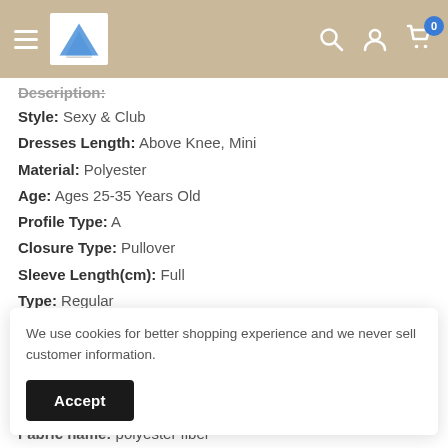Navigation header with logo, search, account, and cart icons
Description:
Style: Sexy & Club
Dresses Length: Above Knee, Mini
Material: Polyester
Age: Ages 25-35 Years Old
Profile Type: A
Closure Type: Pullover
Sleeve Length(cm): Full
Type: Regular
Release Date: Autumn 2021
We use cookies for better shopping experience and we never sell customer information.
Fabric name: polyester fiber